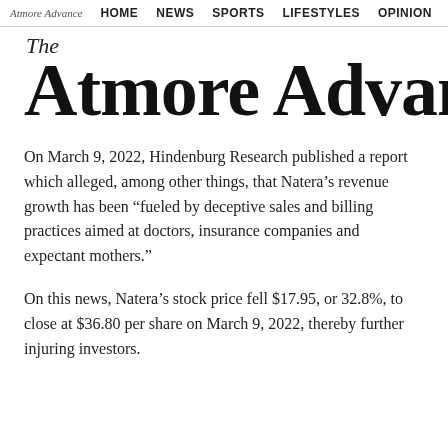Atmore Advance  HOME  NEWS  SPORTS  LIFESTYLES  OPINION
The Atmore Advance
On March 9, 2022, Hindenburg Research published a report which alleged, among other things, that Natera’s revenue growth has been “fueled by deceptive sales and billing practices aimed at doctors, insurance companies and expectant mothers.”
On this news, Natera’s stock price fell $17.95, or 32.8%, to close at $36.80 per share on March 9, 2022, thereby further injuring investors.